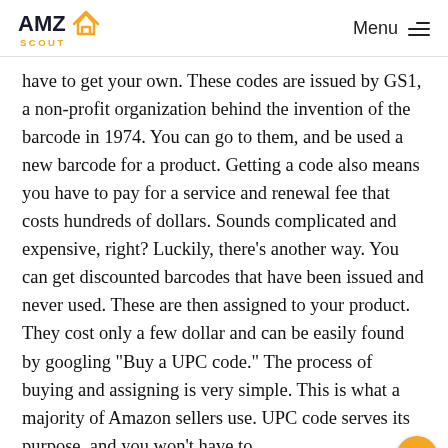AMZ SCOUT  Menu
have to get your own. These codes are issued by GS1, a non-profit organization behind the invention of the barcode in 1974. You can go to them, and be used a new barcode for a product. Getting a code also means you have to pay for a service and renewal fee that costs hundreds of dollars. Sounds complicated and expensive, right? Luckily, there's another way. You can get discounted barcodes that have been issued and never used. These are then assigned to your product. They cost only a few dollar and can be easily found by googling "Buy a UPC code." The process of buying and assigning is very simple. This is what a majority of Amazon sellers use. UPC code serves its purpose, and you won't have to